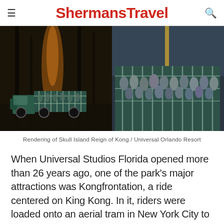ShermansTravel
[Figure (photo): Rendering of Skull Island Reign of Kong attraction at Universal Orlando Resort, showing a teal truck cab with riders in an open cage vehicle traveling through a dark jungle environment]
Rendering of Skull Island Reign of Kong / Universal Orlando Resort
When Universal Studios Florida opened more than 26 years ago, one of the park's major attractions was Kongfrontation, a ride centered on King Kong. In it, riders were loaded onto an aerial tram in New York City to escape from an on-the-loose Kong. Though it proved to be one of the park's most popular experiences, it shuttered 12 years later to make way...